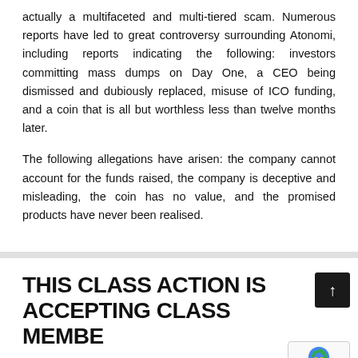actually a multifaceted and multi-tiered scam. Numerous reports have led to great controversy surrounding Atonomi, including reports indicating the following: investors committing mass dumps on Day One, a CEO being dismissed and dubiously replaced, misuse of ICO funding, and a coin that is all but worthless less than twelve months later.
The following allegations have arisen: the company cannot account for the funds raised, the company is deceptive and misleading, the coin has no value, and the promised products have never been realised.
THIS CLASS ACTION IS ACCEPTING CLASS MEMBERS
If you suffered financial loss related to Atonomi's ICO, join this class